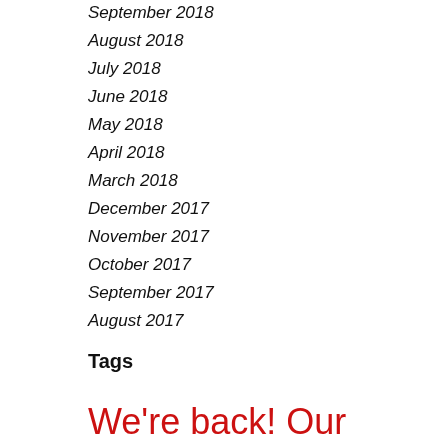September 2018
August 2018
July 2018
June 2018
May 2018
April 2018
March 2018
December 2017
November 2017
October 2017
September 2017
August 2017
Tags
We're back! Our